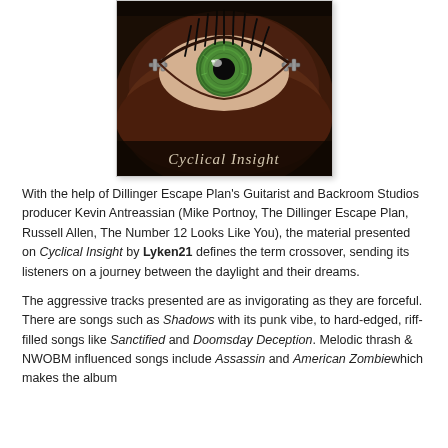[Figure (photo): Album cover for 'Cyclical Insight' by Lyken21 — a close-up macro photograph of a human eye with dramatic lighting, dark eyelashes, and the album title 'Cyclical Insight' in cursive script overlaid at the bottom.]
With the help of Dillinger Escape Plan's Guitarist and Backroom Studios producer Kevin Antreassian (Mike Portnoy, The Dillinger Escape Plan, Russell Allen, The Number 12 Looks Like You), the material presented on Cyclical Insight by Lyken21 defines the term crossover, sending its listeners on a journey between the daylight and their dreams.
The aggressive tracks presented are as invigorating as they are forceful. There are songs such as Shadows with its punk vibe, to hard-edged, riff-filled songs like Sanctified and Doomsday Deception. Melodic thrash & NWOBM influenced songs include Assassin and American Zombiewhich makes the album